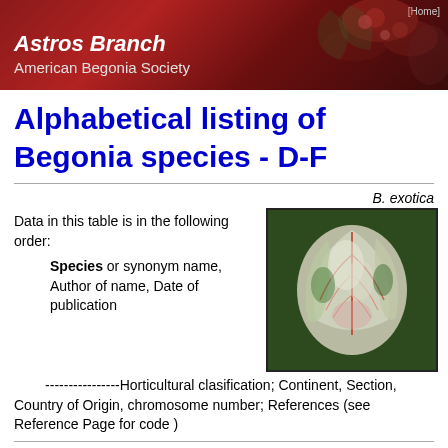Astros Branch American Begonia Society [Home]
Alphabetical listing of Begonia species - D-F
B. exotica
Data in this table is in the following order:
[Figure (photo): Photo of a Begonia exotica plant showing white and green variegated leaves with red veining]
Species or synonym name, Author of name, Date of publication
----------------Horticultural clasification; Continent, Section, Country of Origin, chromosome number; References (see Reference Page for code )
daedalea Lemaire  1860  is strigillosa (2 see R70 a005)